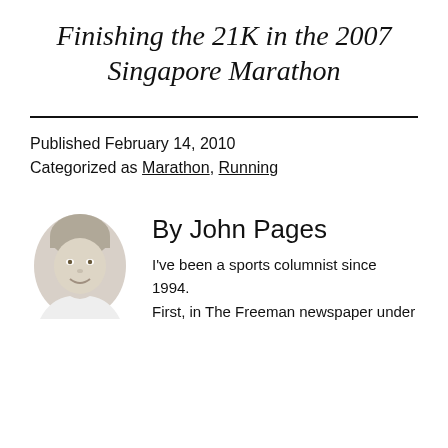Finishing the 21K in the 2007 Singapore Marathon
Published February 14, 2010
Categorized as Marathon, Running
[Figure (photo): Black and white headshot photo of John Pages, a young man smiling]
By John Pages
I've been a sports columnist since 1994. First, in The Freeman newspaper under